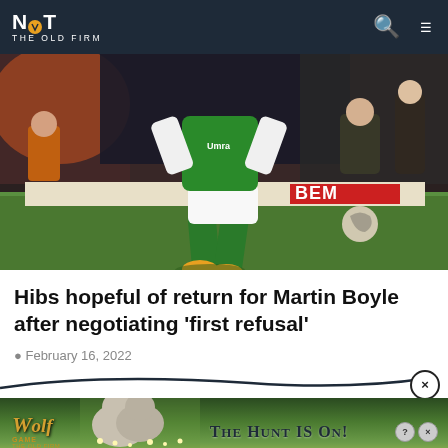NOT THE OLD FIRM
[Figure (photo): Football player in green Hibernian kit with yellow boots running on the pitch, crowd visible in background]
Hibs hopeful of return for Martin Boyle after negotiating 'first refusal'
February 16, 2022
[Figure (advertisement): Wolf Game advertisement banner reading THE HUNT IS ON! with wolf imagery and golden text]